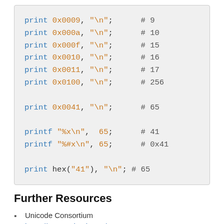[Figure (screenshot): Code block showing Perl/Ruby print and printf statements with hex values and comments]
Further Resources
Unicode Consortium
https://www.unicode.org/
Unicode FAQ
https://www.unicode.org/faq/
Unicode Glossary